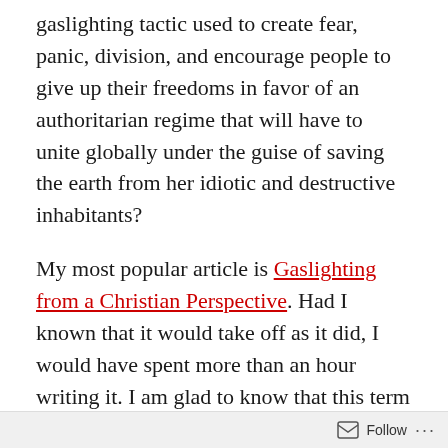gaslighting tactic used to create fear, panic, division, and encourage people to give up their freedoms in favor of an authoritarian regime that will have to unite globally under the guise of saving the earth from her idiotic and destructive inhabitants?
My most popular article is Gaslighting from a Christian Perspective. Had I known that it would take off as it did, I would have spent more than an hour writing it. I am glad to know that this term is becoming well-known because gaslighting is a real threat to our personal liberties–a threat that is given a voice through political propaganda, media outlets, and the big-tech industry.
We have been fed garbage and lies for so long that many of us believe the propaganda. This false information carries us every into spiritual drought while simultaneously pulling us
Follow ···